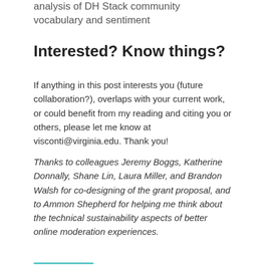analysis of DH Stack community vocabulary and sentiment
Interested? Know things?
If anything in this post interests you (future collaboration?), overlaps with your current work, or could benefit from my reading and citing you or others, please let me know at visconti@virginia.edu. Thank you!
Thanks to colleagues Jeremy Boggs, Katherine Donnally, Shane Lin, Laura Miller, and Brandon Walsh for co-designing of the grant proposal, and to Ammon Shepherd for helping me think about the technical sustainability aspects of better online moderation experiences.